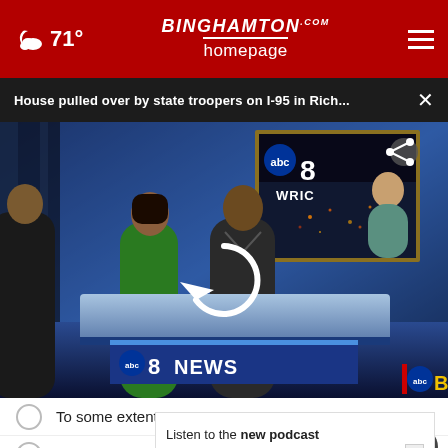☁ 71° | BINGHAMTON homepage.com
House pulled over by state troopers on I-95 in Rich... ×
[Figure (screenshot): TV news broadcast screenshot showing two anchors at a news desk with ABC8 WRIC branding, a reporter appearing on an in-studio screen, and ABC8 NEWS banner on the desk. A reload/spinner icon is centered on the video and a share icon appears top-right.]
To some extent
No, definitely not
Listen to the new podcast about adoption.